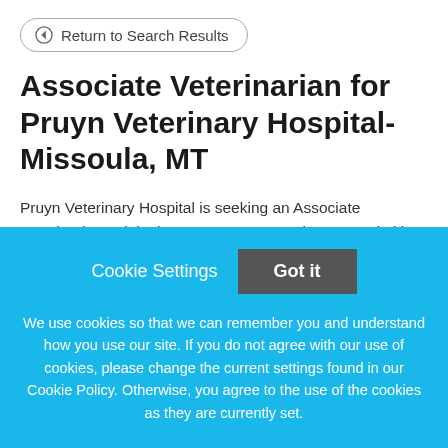Return to Search Results
Associate Veterinarian for Pruyn Veterinary Hospital- Missoula, MT
Pruyn Veterinary Hospital is seeking an Associate Veterinarian to join the team! Pruyn Veterinary Hospital is an AAHA accredited facility that has been servicing Missoula, Montana since 1949. We practice high-quality
Cookie Settings
Got it
We use cookies so that we can remember you and understand how you use our site. If you do not agree with our use of cookies, please change the current settings found in our Cookie Policy. Otherwise, you agree to the use of the cookies as they are currently set.